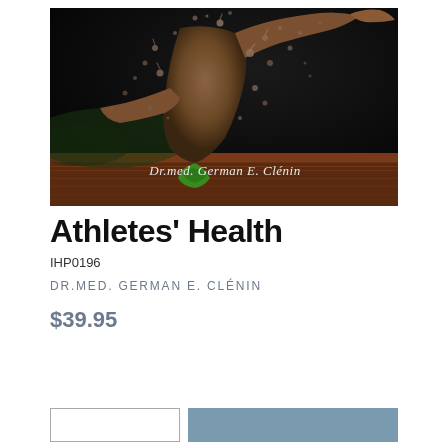[Figure (photo): Athletic sprinter mid-run captured dramatically with water/mud droplets flying, running on a track. Overlay text reads 'Dr.med. German E. Clénin' in italic white font on a dark track surface background.]
Athletes' Health
IHP0196
DR.MED. GERMAN E. CLÉNIN
$39.95